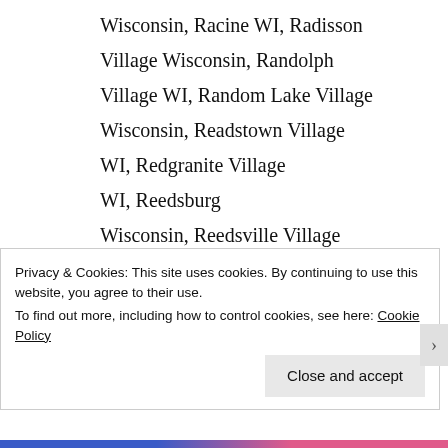Wisconsin, Racine WI, Radisson Village Wisconsin, Randolph Village WI, Random Lake Village Wisconsin, Readstown Village WI, Redgranite Village WI, Reedsburg Wisconsin, Reedsville Village WI, Reeseville Village Wisconsin, Reserve WI, Rewey Village WI, Rhinelander
Privacy & Cookies: This site uses cookies. By continuing to use this website, you agree to their use.
To find out more, including how to control cookies, see here: Cookie Policy